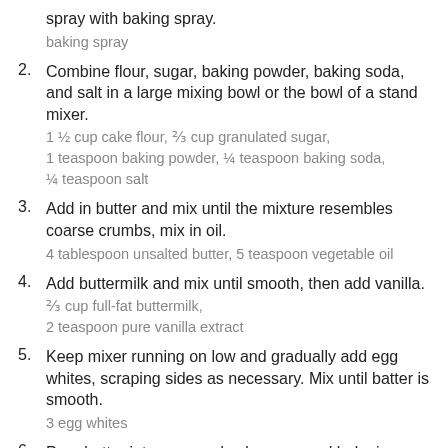spray with baking spray.
baking spray
2. Combine flour, sugar, baking powder, baking soda, and salt in a large mixing bowl or the bowl of a stand mixer.
1 ½ cup cake flour, ⅔ cup granulated sugar, 1 teaspoon baking powder, ¼ teaspoon baking soda, ¼ teaspoon salt
3. Add in butter and mix until the mixture resembles coarse crumbs, mix in oil.
4 tablespoon unsalted butter, 5 teaspoon vegetable oil
4. Add buttermilk and mix until smooth, then add vanilla.
⅔ cup full-fat buttermilk, 2 teaspoon pure vanilla extract
5. Keep mixer running on low and gradually add egg whites, scraping sides as necessary. Mix until batter is smooth.
3 egg whites
6. Pour batter into prepared cake pans and bake in preheated oven for 12-15 minutes, or until a toothpick entered into the center of each layer comes out clean.